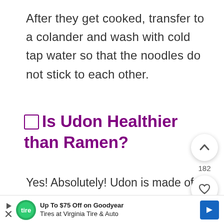After they get cooked, transfer to a colander and wash with cold tap water so that the noodles do not stick to each other.
🔲 Is Udon Healthier than Ramen?
Yes! Absolutely! Udon is made of Wheat Flour and Water. Also, it's low in Sodium and has Zero MSG. So it's obviously heal...
[Figure (screenshot): UI overlay with up-arrow button, like count 182, heart button, and purple search button on right side]
[Figure (infographic): Advertisement banner: Up To $75 Off on Goodyear Tires at Virginia Tire & Auto with logo and blue arrow icon]